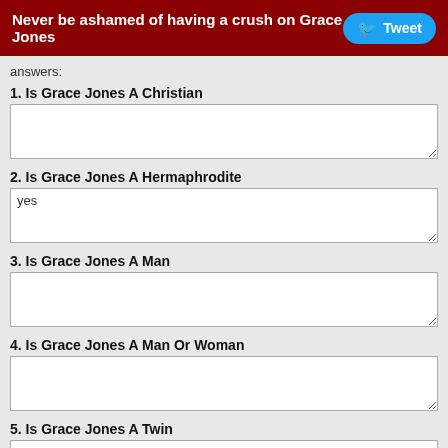Never be ashamed of having a crush on Grace Jones  Tweet
answers:
1. Is Grace Jones A Christian
2. Is Grace Jones A Hermaphrodite
3. Is Grace Jones A Man
4. Is Grace Jones A Man Or Woman
5. Is Grace Jones A Twin
6. Is Grace Jones A Woman
7. Is Grace Jones Brother A Preacher